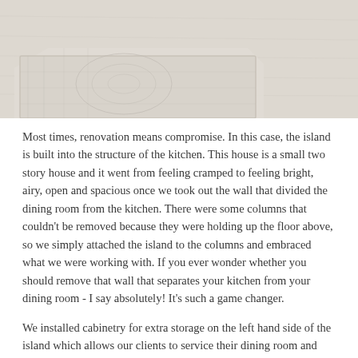[Figure (photo): Partial photo of a light wood floor with a patterned off-white/cream area rug visible in the lower-left corner of the image.]
Most times, renovation means compromise. In this case, the island is built into the structure of the kitchen. This house is a small two story house and it went from feeling cramped to feeling bright, airy, open and spacious once we took out the wall that divided the dining room from the kitchen. There were some columns that couldn't be removed because they were holding up the floor above, so we simply attached the island to the columns and embraced what we were working with. If you ever wonder whether you should remove that wall that separates your kitchen from your dining room - I say absolutely! It's such a game changer.
We installed cabinetry for extra storage on the left hand side of the island which allows our clients to service their dining room and also eliminates the need for a credenza or sideboard. On the right hand side of the island, we tucked in a couple of stools. This way,